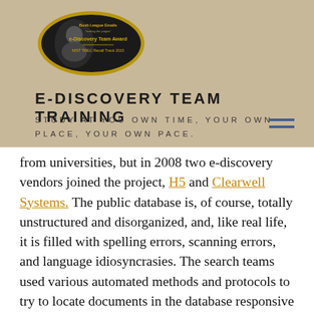[Figure (logo): Oval badge logo with a person's photo, text 'Bush League Emails', 'e-Discovery Team Award', 'NIST TREC Recall Track 2015']
E-DISCOVERY TEAM TRAINING
STUDY AT YOU OWN TIME, YOUR OWN PLACE, YOUR OWN PACE.
from universities, but in 2008 two e-discovery vendors joined the project, H5 and Clearwell Systems. The public database is, of course, totally unstructured and disorganized, and, like real life, it is filled with spelling errors, scanning errors, and language idiosyncrasies. The search teams used various automated methods and protocols to try to locate documents in the database responsive to various categories.
The experiment was, among other things, designed to